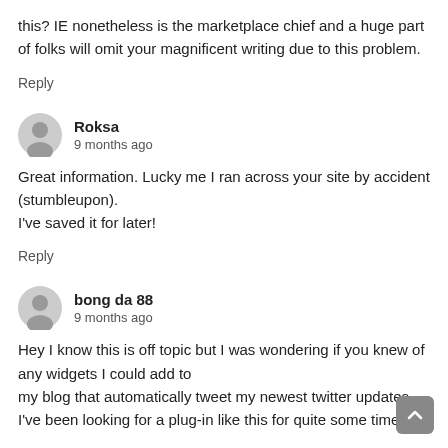this? IE nonetheless is the marketplace chief and a huge part of folks will omit your magnificent writing due to this problem.
Reply
Roksa
9 months ago
Great information. Lucky me I ran across your site by accident (stumbleupon).
I've saved it for later!
Reply
bong da 88
9 months ago
Hey I know this is off topic but I was wondering if you knew of any widgets I could add to my blog that automatically tweet my newest twitter updates. I've been looking for a plug-in like this for quite some time and